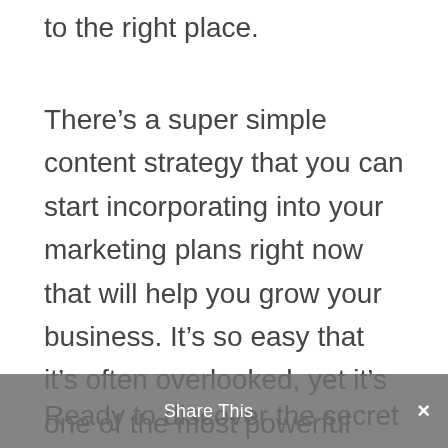to the right place.
There’s a super simple content strategy that you can start incorporating into your marketing plans right now that will help you grow your business. It’s so easy that it’s often overlooked, yet it’s one of the most powerful things you can do when marketing your small business.
Ready to discover the secret and start getting more cust…? Let’s go…!
Share This ×